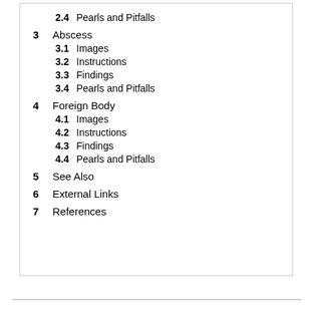2.4 Pearls and Pitfalls
3 Abscess
3.1 Images
3.2 Instructions
3.3 Findings
3.4 Pearls and Pitfalls
4 Foreign Body
4.1 Images
4.2 Instructions
4.3 Findings
4.4 Pearls and Pitfalls
5 See Also
6 External Links
7 References